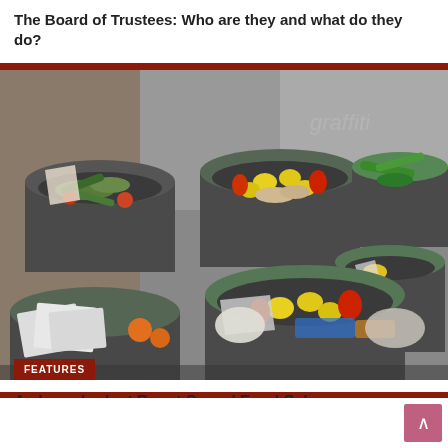The Board of Trustees: Who are they and what do they do?
[Figure (photo): Multiple large dark plastic bins/barrels filled with various fruits, vegetables, and food waste including lemons, cucumbers, tomatoes, herbs, chicken pieces, and other produce scraps. A 'FEATURES' badge is overlaid in the bottom-left corner.]
FEATURES
A closer look at Puget Sound Food Salvage